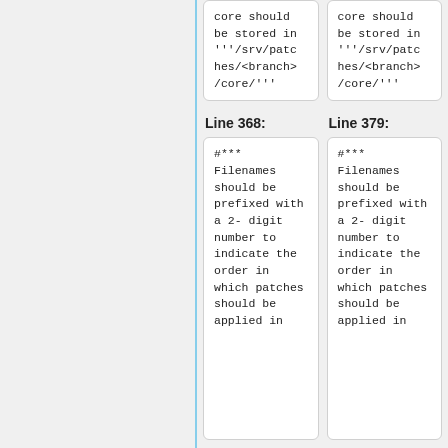core should be stored in '''/srv/patches/<branch>/core/'''
core should be stored in '''/srv/patches/<branch>/core/'''
Line 368:
Line 379:
#*** Filenames should be prefixed with a 2-digit number to indicate the order in which patches should be applied in
#*** Filenames should be prefixed with a 2-digit number to indicate the order in which patches should be applied in